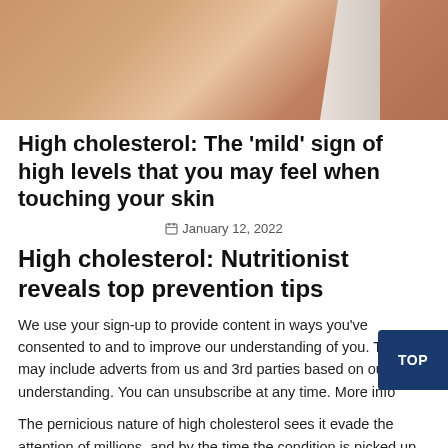[Figure (photo): Close-up photo of human skin being touched, warm skin tones with partial white shape visible]
High cholesterol: The ‘mild’ sign of high levels that you may feel when touching your skin
January 12, 2022
High cholesterol: Nutritionist reveals top prevention tips
We use your sign-up to provide content in ways you've consented to and to improve our understanding of you. This may include adverts from us and 3rd parties based on our understanding. You can unsubscribe at any time. More info
The pernicious nature of high cholesterol sees it evade the attention of millions, and by the time the condition is picked up, it's often too late. In the advanced phases of the condition,